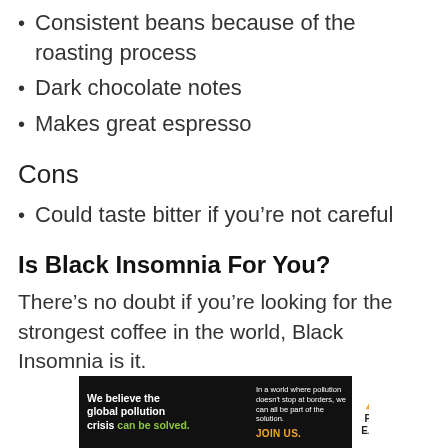Consistent beans because of the roasting process
Dark chocolate notes
Makes great espresso
Cons
Could taste bitter if you're not careful
Is Black Insomnia For You?
There's no doubt if you're looking for the strongest coffee in the world, Black Insomnia is it.
[Figure (other): Advertisement banner for Pure Earth: 'We believe the global pollution crisis can be solved. In a world where pollution doesn't stop at borders, we can all be part of the solution. JOIN US.' with Pure Earth logo.]